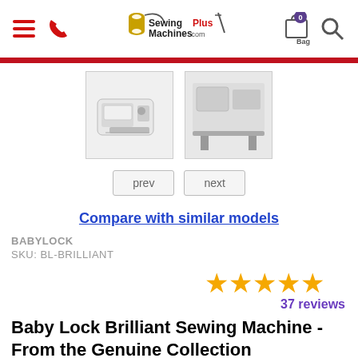[Figure (screenshot): SewingMachinesPlus website header with hamburger menu, phone icon, logo, bag icon with 0 badge, and search icon]
[Figure (photo): Thumbnail of Baby Lock Brilliant sewing machine, front view on white background]
[Figure (photo): Thumbnail of Baby Lock Brilliant sewing machine in use on a table]
prev
next
Compare with similar models
BABYLOCK
SKU: BL-BRILLIANT
[Figure (infographic): 5 orange stars rating]
37 reviews
Baby Lock Brilliant Sewing Machine - From the Genuine Collection
Only 5 left in stock